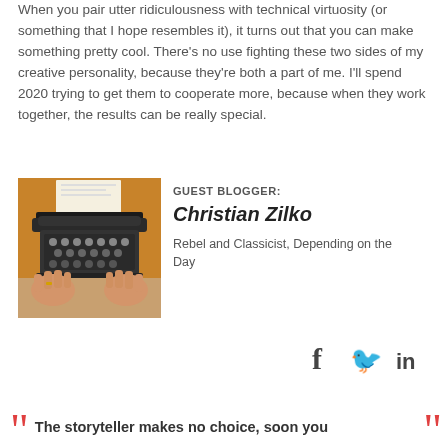When you pair utter ridiculousness with technical virtuosity (or something that I hope resembles it), it turns out that you can make something pretty cool. There's no use fighting these two sides of my creative personality, because they're both a part of me. I'll spend 2020 trying to get them to cooperate more, because when they work together, the results can be really special.
[Figure (photo): Photo of hands typing on a vintage typewriter with paper loaded]
GUEST BLOGGER:
Christian Zilko
Rebel and Classicist, Depending on the Day
[Figure (infographic): Social media share icons: Facebook (f), Twitter (bird), LinkedIn (in)]
The storyteller makes no choice, soon you